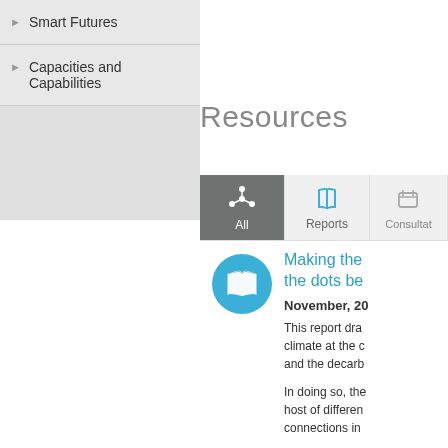Smart Futures
Capacities and Capabilities
Resources
[Figure (screenshot): Tab navigation bar with three tabs: 'All' (active, dark grey background, network/hub icon), 'Reports' (book icon), and 'Consultat...' (partially visible, light grey background)]
[Figure (illustration): Blue circular icon with open book symbol representing a report resource]
Making the... the dots be...
November, 20...
This report dra... climate at the c... and the decarb...
In doing so, the... host of differen... connections in...